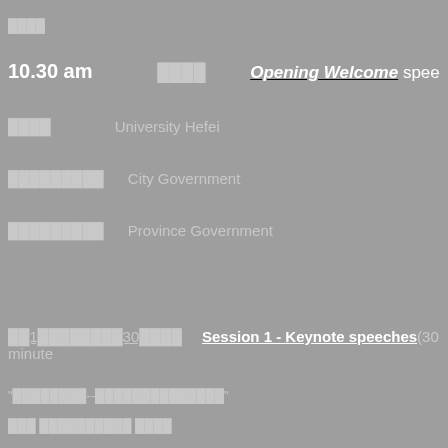████
10.30 am    ████    Opening Welcome spee
████    University Hefei
█████████    City Government
█████████    Province Government
██1████████30████    Session 1 - Keynote speeches (30 minute
"████████--██████████████"
███ ██████████ ████